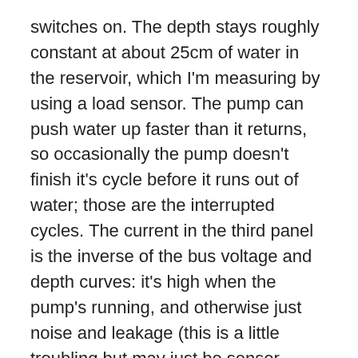switches on. The depth stays roughly constant at about 25cm of water in the reservoir, which I'm measuring by using a load sensor. The pump can push water up faster than it returns, so occasionally the pump doesn't finish it's cycle before it runs out of water; those are the interrupted cycles. The current in the third panel is the inverse of the bus voltage and depth curves: it's high when the pump's running, and otherwise just noise and leakage (this is a little troubling but may just be sensor noise).
Then the charging circuit reminds us how three-stage lead-acid battery charging works. I'm watching it for when it drops back to 13.75v, which is when it hits stage 3. At that point, the battery on the bus could hand off to the newly charged battery, and charge itself.
This cycle doesn't work the pump hard enough. I'm off